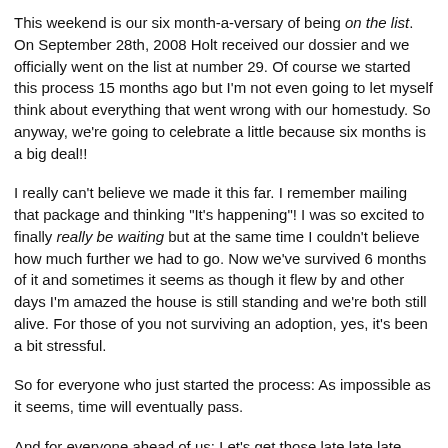This weekend is our six month-a-versary of being on the list. On September 28th, 2008 Holt received our dossier and we officially went on the list at number 29. Of course we started this process 15 months ago but I'm not even going to let myself think about everything that went wrong with our homestudy. So anyway, we're going to celebrate a little because six months is a big deal!!
I really can't believe we made it this far. I remember mailing that package and thinking "It's happening"! I was so excited to finally really be waiting but at the same time I couldn't believe how much further we had to go. Now we've survived 6 months of it and sometimes it seems as though it flew by and other days I'm amazed the house is still standing and we're both still alive. For those of you not surviving an adoption, yes, it's been a bit stressful.
So for everyone who just started the process: As impossible as it seems, time will eventually pass.
And for everyone ahead of us: Let's get those late late late...